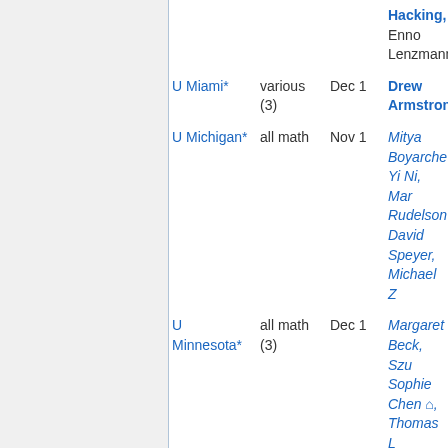| Institution | Area | Deadline | Contact |
| --- | --- | --- | --- |
|  |  |  | Hacking, Enno Lenzmann |
| U Miami* | various (3) | Dec 1 | Drew Armstrong |
| U Michigan* | all math | Nov 1 | Mitya Boyarchenko, Yi Ni, Mark Rudelson, David Speyer, Michael Z |
| U Minnesota* | all math (3) | Dec 1 | Margaret Beck, Szu Sophie Chen, Thomas L, Melvin Le, Mark Rudelson, David Speyer, Dapeng Z |